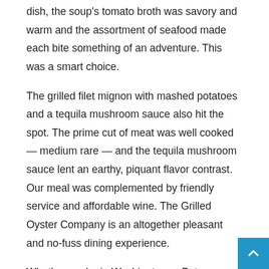dish, the soup's tomato broth was savory and warm and the assortment of seafood made each bite something of an adventure. This was a smart choice.
The grilled filet mignon with mashed potatoes and a tequila mushroom sauce also hit the spot. The prime cut of meat was well cooked — medium rare — and the tequila mushroom sauce lent an earthy, piquant flavor contrast. Our meal was complemented by friendly service and affordable wine. The Grilled Oyster Company is an altogether pleasant and no-fuss dining experience.
Whether you're in Washington or Potomac, your chances of enjoying a tasty meal in a relaxed and inviting setting are excellent if you decide to visit either the reliable standby of Firefly or the suburb standout of the Grilled Oyster Company.
Firefly